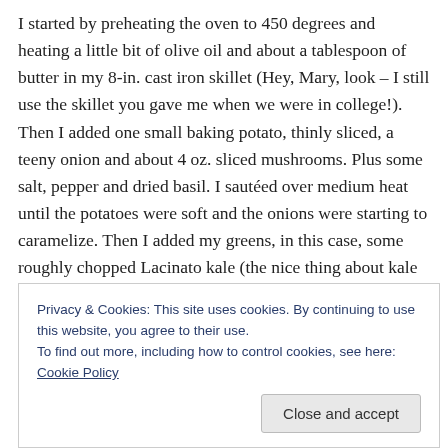I started by preheating the oven to 450 degrees and heating a little bit of olive oil and about a tablespoon of butter in my 8-in. cast iron skillet (Hey, Mary, look – I still use the skillet you gave me when we were in college!). Then I added one small baking potato, thinly sliced, a teeny onion and about 4 oz. sliced mushrooms. Plus some salt, pepper and dried basil. I sautéed over medium heat until the potatoes were soft and the onions were starting to caramelize. Then I added my greens, in this case, some roughly chopped Lacinato kale (the nice thing about kale is that it can stand up to the eat without melting away to
Privacy & Cookies: This site uses cookies. By continuing to use this website, you agree to their use.
To find out more, including how to control cookies, see here: Cookie Policy